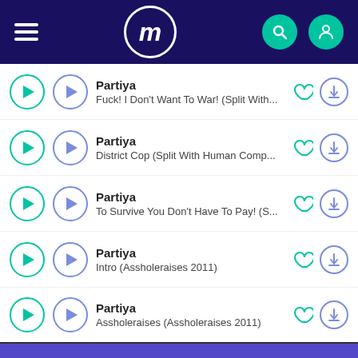[Figure (screenshot): App header with hamburger menu, circular 'm' logo, search icon, and profile icon on dark navy background]
Partiya — Fuck! I Don't Want To War! (Split With...
Partiya — District Cop (Split With Human Comp...
Partiya — To Survive You Don't Have To Pay! (S...
Partiya — Intro (Assholeraises 2011)
Partiya — Assholeraises (Assholeraises 2011)
[Figure (screenshot): Purple footer playback bar with a white play triangle]